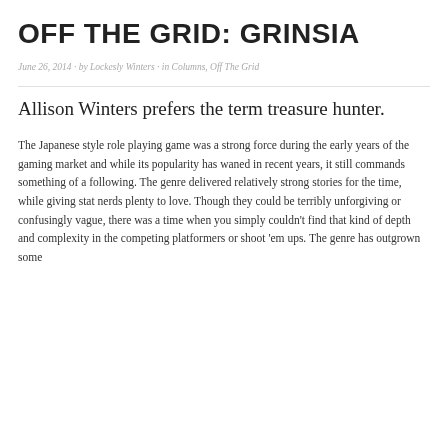OFF THE GRID: GRINSIA
June 26, 2014 · by Lockesly Winters · in Columns, Off The Grid
Allison Winters prefers the term treasure hunter.
The Japanese style role playing game was a strong force during the early years of the gaming market and while its popularity has waned in recent years, it still commands something of a following. The genre delivered relatively strong stories for the time, while giving stat nerds plenty to love. Though they could be terribly unforgiving or confusingly vague, there was a time when you simply couldn't find that kind of depth and complexity in the competing platformers or shoot 'em ups. The genre has outgrown some